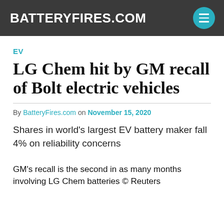BATTERYFIRES.COM
EV
LG Chem hit by GM recall of Bolt electric vehicles
By BatteryFires.com on November 15, 2020
Shares in world's largest EV battery maker fall 4% on reliability concerns
GM's recall is the second in as many months involving LG Chem batteries © Reuters